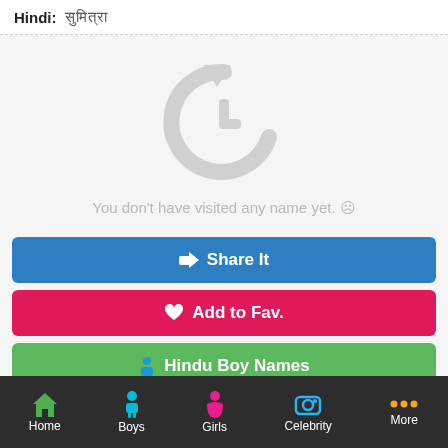Hindi: ████████
[Figure (illustration): Large circular refresh/history icon in light gray]
You don't have visited any name yet. ☹
Share It
Add to Fav.
Hindu Boy Names
Home | Boys | Girls | Celebrity | More